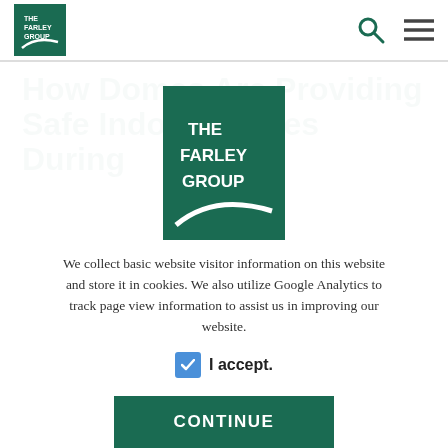The Farley Group — site header with logo, search icon, and menu icon
How Domes Are Providing Safe Indoor Spaces During
[Figure (logo): The Farley Group logo — white text on dark green square background with arc graphic]
We collect basic website visitor information on this website and store it in cookies. We also utilize Google Analytics to track page view information to assist us in improving our website.
I accept.
CONTINUE